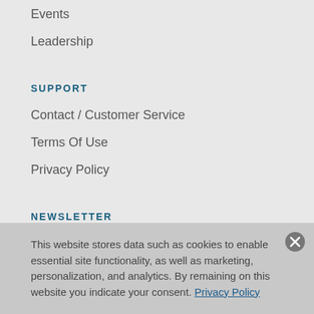Events
Leadership
SUPPORT
Contact / Customer Service
Terms Of Use
Privacy Policy
NEWSLETTER
Sign up to receive the latest news and information from AIP Publishing.
This website stores data such as cookies to enable essential site functionality, as well as marketing, personalization, and analytics. By remaining on this website you indicate your consent. Privacy Policy